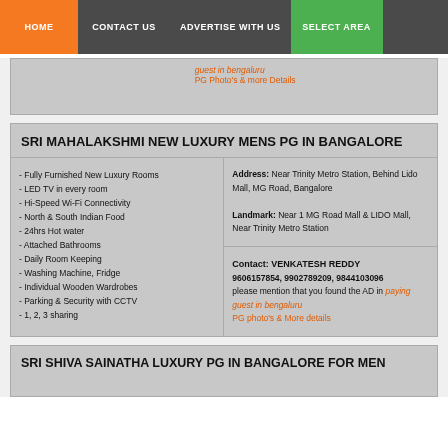HOME | CONTACT US | ADVERTISE WITH US | SELECT AREA
guest in bengaluru
PG Photo's & more Details
SRI MAHALAKSHMI NEW LUXURY MENS PG IN BANGALORE
- Fully Furnished New Luxury Rooms
- LED TV in every room
- Hi-Speed Wi-Fi Connectivity
- North & South Indian Food
- 24hrs Hot water
- Attached Bathrooms
- Daily Room Keeping
- Washing Machine, Fridge
- Individual Wooden Wardrobes
- Parking & Security with CCTV
- 1, 2, 3 sharing
Address: Near Trinity Metro Station, Behind Lido Mall, MG Road, Bangalore

Landmark: Near 1 MG Road Mall & LIDO Mall, Near Trinity Metro Station
Contact: VENKATESH REDDY
9606157854, 9902789209, 9844103096
please mention that you found the AD in paying guest in bengaluru
PG photo's & More details
SRI SHIVA SAINATHA LUXURY PG IN BANGALORE FOR MEN